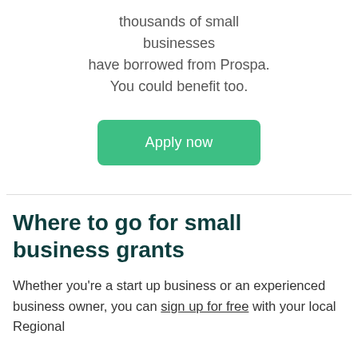Thousands of small businesses have borrowed from Prospa. You could benefit too.
[Figure (other): Green 'Apply now' button]
Where to go for small business grants
Whether you're a start up business or an experienced business owner, you can sign up for free with your local Regional